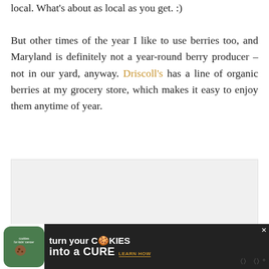local. What's about as local as you get. :)

But other times of the year I like to use berries too, and Maryland is definitely not a year-round berry producer – not in our yard, anyway. Driscoll's has a line of organic berries at my grocery store, which makes it easy to enjoy them anytime of year.
[Figure (photo): Light gray image placeholder box with a right-pointing chevron/caret icon in the lower right corner, and three navigation dots at the bottom center.]
[Figure (infographic): Advertisement banner: Cookies for Kids Cancer — turn your cookies into a cure, learn how. Dark background with green icon on left and white/gold text.]